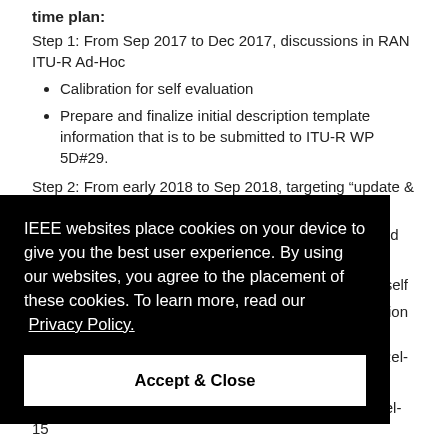time plan:
Step 1: From Sep 2017 to Dec 2017, discussions in RAN ITU-R Ad-Hoc
Calibration for self evaluation
Prepare and finalize initial description template information that is to be submitted to ITU-R WP 5D#29.
Step 2: From early 2018 to Sep 2018, targeting “update & self eval” submission in Sep 2018
Performance evaluation against eMBB, mMTC and URLLC
nd self
nission
t Rel-
e to take into account Rel-16 updates in addition to Rel-15
[Figure (other): Cookie consent overlay popup. Black background with white text reading: 'IEEE websites place cookies on your device to give you the best user experience. By using our websites, you agree to the placement of these cookies. To learn more, read our Privacy Policy.' Below is a white 'Accept & Close' button.]